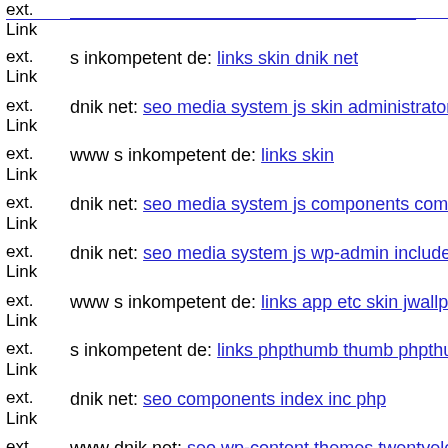ext. Link [link truncated]
ext. Link s inkompetent de: links skin dnik net
ext. Link dnik net: seo media system js skin administrator components co...
ext. Link www s inkompetent de: links skin
ext. Link dnik net: seo media system js components com b2jcontact cont...
ext. Link dnik net: seo media system js wp-admin includes plugins conte...
ext. Link www s inkompetent de: links app etc skin jwallpapers files plu...
ext. Link s inkompetent de: links phpthumb thumb phpthumb s inkompe...
ext. Link dnik net: seo components index inc php
ext. Link www dnik net: seo wp-content themes twentyeleven kontakty d...
ext. Link dnik net: seo autorized php
ext. Link s inkompetent de: links wp-content plugins formcraft file-uploa...